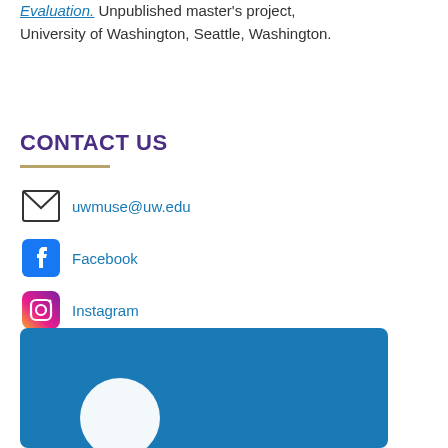Evaluation. Unpublished master's project, University of Washington, Seattle, Washington.
CONTACT US
uwmuse@uw.edu
Facebook
Instagram
[Figure (photo): Blue background image with a white circle (likely a person's profile photo), partially visible at bottom of page.]